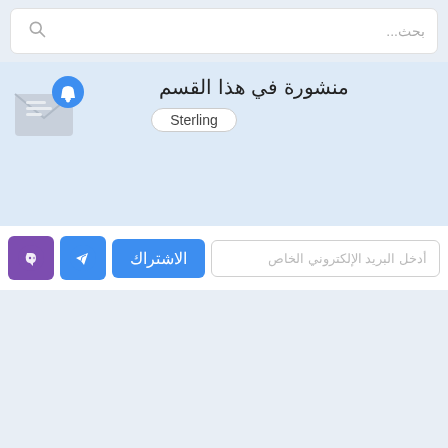بحث...
منشورة في هذا القسم
Sterling
[Figure (illustration): Envelope icon with notification bell badge]
أدخل البريد الإلكتروني الخاص
الاشتراك
[Figure (illustration): Telegram button icon]
[Figure (illustration): Viber button icon]